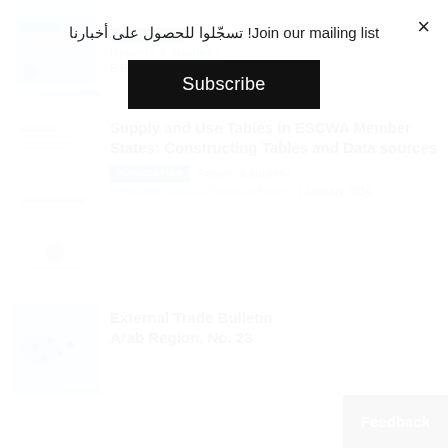Join our mailing list! تسجّلوا للحصول على أخبارنا
Subscribe
[Figure (screenshot): Thumbnail cover image of a ESCWA publication about External Trade Bulletin]
PUBLICATION  Reports & studies | E/ESCWA/SD/2015/7 | January 2016
[Figure (screenshot): Thumbnail cover image of ESCWA publication on Supply and Use Tables]
Supply and Use Tables in ESCWA Member States: Constructing Tables and Data sources
PUBLICATION  Reports & studies | E/ESCWA/SD/2014/Technical Paper.2 | January 2014
[Figure (screenshot): Thumbnail cover image of External Trade Bulletin publication]
External Trade Bulletin of the Arab Region, No. 23
Feedback